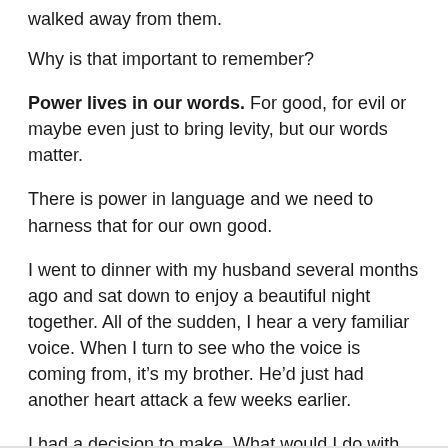walked away from them.
Why is that important to remember?
Power lives in our words. For good, for evil or maybe even just to bring levity, but our words matter.
There is power in language and we need to harness that for our own good.
I went to dinner with my husband several months ago and sat down to enjoy a beautiful night together. All of the sudden, I hear a very familiar voice. When I turn to see who the voice is coming from, it’s my brother. He’d just had another heart attack a few weeks earlier.
I had a decision to make. What would I do with this encounter?